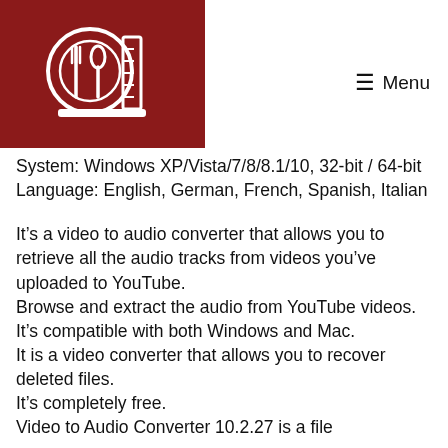Menu
System: Windows XP/Vista/7/8/8.1/10, 32-bit / 64-bit
Language: English, German, French, Spanish, Italian
It’s a video to audio converter that allows you to retrieve all the audio tracks from videos you’ve uploaded to YouTube.
Browse and extract the audio from YouTube videos.
It’s compatible with both Windows and Mac.
It is a video converter that allows you to recover deleted files.
It’s completely free.
Video to Audio Converter 10.2.27 is a file